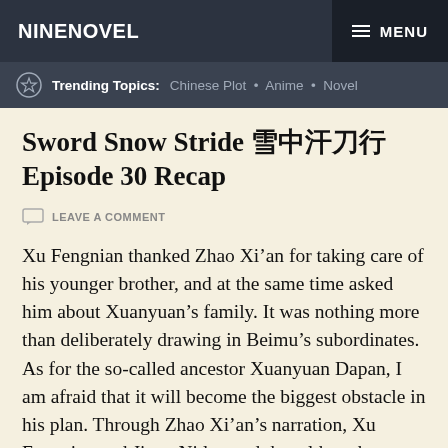NINENOVEL   MENU
Trending Topics: Chinese Plot • Anime • Novel
Sword Snow Stride 雪中悍刀行 Episode 30 Recap
LEAVE A COMMENT
Xu Fengnian thanked Zhao Xi'an for taking care of his younger brother, and at the same time asked him about Xuanyuan's family. It was nothing more than deliberately drawing in Beimu's subordinates. As for the so-called ancestor Xuanyuan Dapan, I am afraid that it will become the biggest obstacle in his plan. Through Zhao Xi'an's narration, Xu Fengnian and Jiang Ni learned that although Xuanyuan Dapan's surname